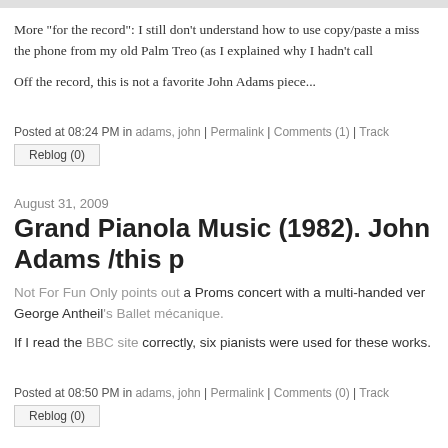More "for the record": I still don't understand how to use copy/paste a miss the phone from my old Palm Treo (as I explained why I hadn't call
Off the record, this is not a favorite John Adams piece...
Posted at 08:24 PM in adams, john | Permalink | Comments (1) | Track
Reblog (0)
August 31, 2009
Grand Pianola Music (1982). John Adams /this p
Not For Fun Only points out a Proms concert with a multi-handed ver George Antheil's Ballet mécanique.
If I read the BBC site correctly, six pianists were used for these works.
Posted at 08:50 PM in adams, john | Permalink | Comments (0) | Track
Reblog (0)